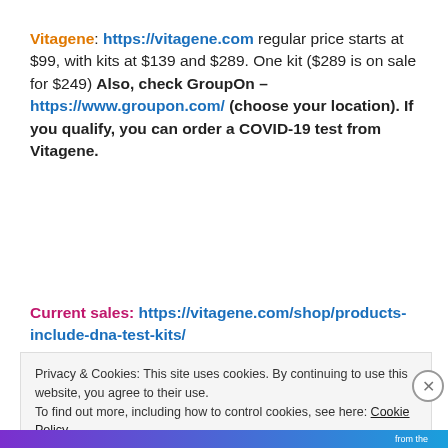Vitagene: https://vitagene.com regular price starts at $99, with kits at $139 and $289. One kit ($289 is on sale for $249) Also, check GroupOn – https://www.groupon.com/ (choose your location). If you qualify, you can order a COVID-19 test from Vitagene.
Current sales: https://vitagene.com/shop/products-include-dna-test-kits/
Privacy & Cookies: This site uses cookies. By continuing to use this website, you agree to their use.
To find out more, including how to control cookies, see here: Cookie Policy